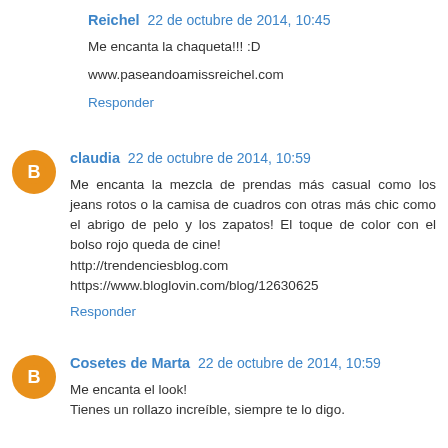Reichel 22 de octubre de 2014, 10:45
Me encanta la chaqueta!!! :D
www.paseandoamissreichel.com
Responder
claudia 22 de octubre de 2014, 10:59
Me encanta la mezcla de prendas más casual como los jeans rotos o la camisa de cuadros con otras más chic como el abrigo de pelo y los zapatos! El toque de color con el bolso rojo queda de cine!
http://trendenciesblog.com
https://www.bloglovin.com/blog/12630625
Responder
Cosetes de Marta 22 de octubre de 2014, 10:59
Me encanta el look!
Tienes un rollazo increíble, siempre te lo digo.